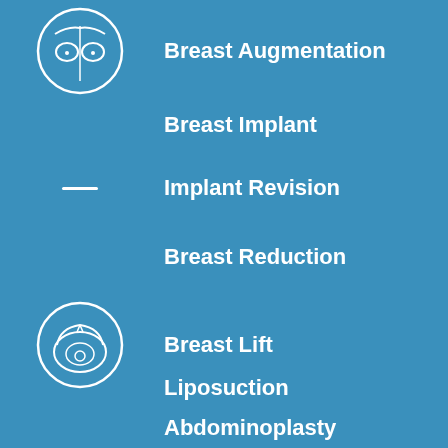[Figure (illustration): White outline icon of a female torso with breast augmentation markings inside a circle]
Breast Augmentation
Breast Implant
Implant Revision
Breast Reduction
[Figure (illustration): White outline icon of a breast lift surgical diagram inside a circle]
Breast Lift
Liposuction
Abdominoplasty